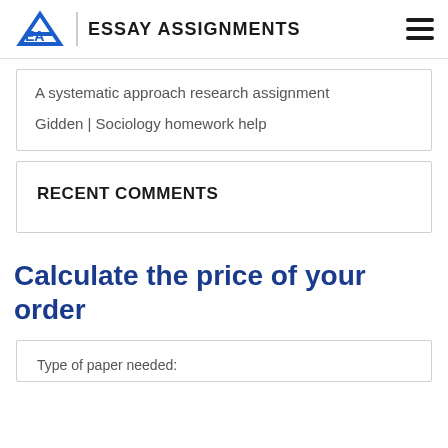EA | ESSAY ASSIGNMENTS
A systematic approach research assignment
Gidden | Sociology homework help
RECENT COMMENTS
Calculate the price of your order
Type of paper needed: